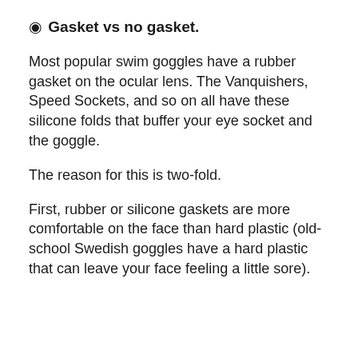◉ Gasket vs no gasket.
Most popular swim goggles have a rubber gasket on the ocular lens. The Vanquishers, Speed Sockets, and so on all have these silicone folds that buffer your eye socket and the goggle.
The reason for this is two-fold.
First, rubber or silicone gaskets are more comfortable on the face than hard plastic (old-school Swedish goggles have a hard plastic that can leave your face feeling a little sore).